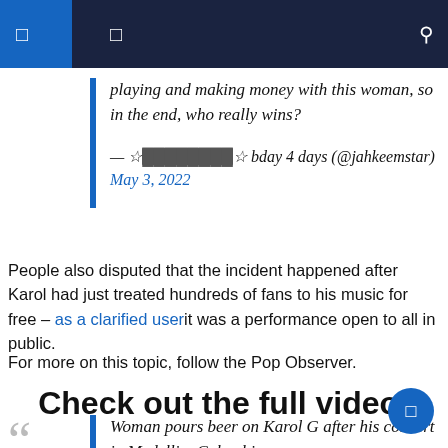playing and making money with this woman, so in the end, who really wins?
— ☆🎂🎂🎂🎂🎂🎂🎂☆ bday 4 days (@jahkeemstar) May 3, 2022
People also disputed that the incident happened after Karol had just treated hundreds of fans to his music for free – as a clarified userit was a performance open to all in public.
For more on this topic, follow the Pop Observer.
Check out the full video:
Woman pours beer on Karol G after his concert in Medellin, Colombia.